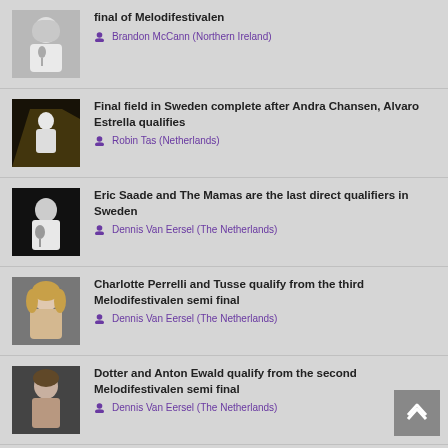final of Melodifestivalen — Brandon McCann (Northern Ireland)
Final field in Sweden complete after Andra Chansen, Alvaro Estrella qualifies — Robin Tas (Netherlands)
Eric Saade and The Mamas are the last direct qualifiers in Sweden — Dennis Van Eersel (The Netherlands)
Charlotte Perrelli and Tusse qualify from the third Melodifestivalen semi final — Dennis Van Eersel (The Netherlands)
Dotter and Anton Ewald qualify from the second Melodifestivalen semi final — Dennis Van Eersel (The Netherlands)